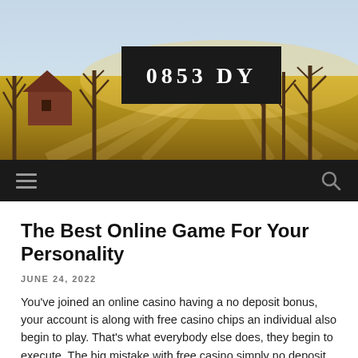[Figure (photo): Rural landscape header image showing a field with warm golden light, bare trees, and a barn/shed structure on the left. A black banner with logo text '0853 DY' overlaid in the center.]
0853 DY
The Best Online Game For Your Personality
JUNE 24, 2022
You've joined an online casino having a no deposit bonus, your account is along with free casino chips an individual also begin to play. That's what everybody else does, they begin to execute. The big mistake with free casino simply no deposit bonuses is that players waste